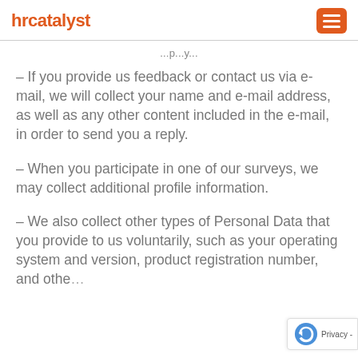hrcatalyst
– If you provide us feedback or contact us via e-mail, we will collect your name and e-mail address, as well as any other content included in the e-mail, in order to send you a reply.
– When you participate in one of our surveys, we may collect additional profile information.
– We also collect other types of Personal Data that you provide to us voluntarily, such as your operating system and version, product registration number, and othe…